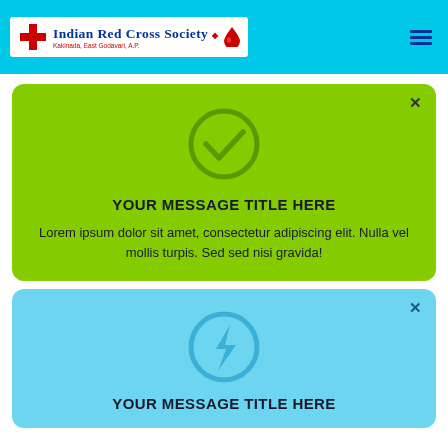[Figure (logo): Indian Red Cross Society header with cyan background, logo with red cross, organization name in blue serif font, subtitle in red, and hamburger menu icon on right]
[Figure (infographic): Green notification card with circular checkmark icon, bold title 'YOUR MESSAGE TITLE HERE', and placeholder lorem ipsum body text, with close X button]
YOUR MESSAGE TITLE HERE
Lorem ipsum dolor sit amet, consectetur adipiscing elit. Nulla vel mollis turpis. Sed sed nisi gravida!
[Figure (infographic): Light blue notification card with circular lightning bolt icon and bold title 'YOUR MESSAGE TITLE HERE', with close X button]